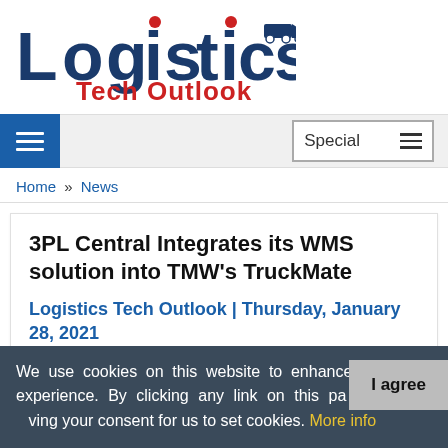[Figure (logo): Logistics Tech Outlook logo with blue serif 'Logistics' text, red dots over i's, truck icon, and red 'Tech Outlook' subtitle]
Special
Home » News
3PL Central Integrates its WMS solution into TMW's TruckMate
Logistics Tech Outlook | Thursday, January 28, 2021
We use cookies on this website to enhance your user experience. By clicking any link on this page you are giving your consent for us to set cookies. More info